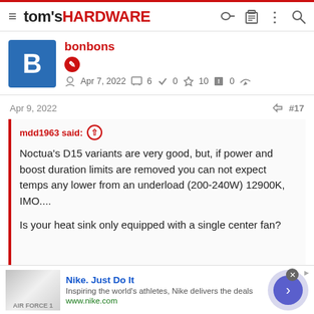tom's HARDWARE
bonbons
Apr 7, 2022  6  0  10  0
Apr 9, 2022  #17
mdd1963 said:
Noctua's D15 variants are very good, but, if power and boost duration limits are removed you can not expect temps any lower from an underload (200-240W) 12900K, IMO....

Is your heat sink only equipped with a single center fan?
[Figure (other): Nike advertisement banner: Nike. Just Do It. Inspiring the world's athletes, Nike delivers the deals. www.nike.com. Shows Air Force 1 shoe image.]